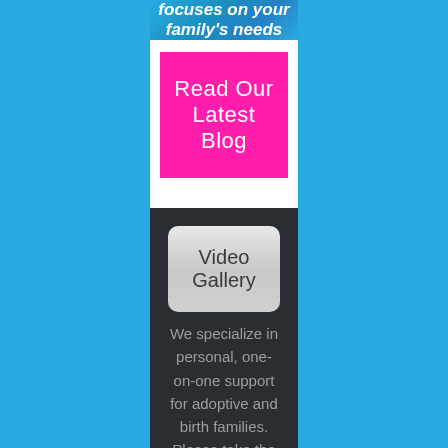[Figure (illustration): Blue banner with italic white bold text reading 'focuses on your family's needs']
Read Our Latest Blog
Video Gallery
We specialize in personal, one-on-one support for adoptive and birth families. Please take the time to watch some of our Adoption Stories.
Watch Videos
Photo Gallery
Please take the time to view our Adoption photo gallery.